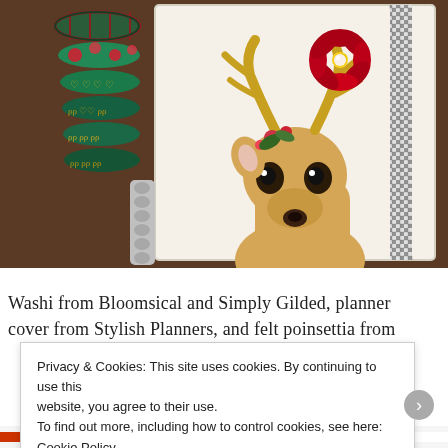[Figure (photo): A decorative photo showing washi tape rolls stacked on the left (green with gold bow pattern, plaid, red roses), a spiral-bound planner/notebook open to a page featuring an illustrated reindeer with golden antlers, red poinsettia flowers, greenery, and a black-and-white gingham ribbon bookmark.]
Washi from Bloomsical and Simply Gilded, planner cover from Stylish Planners, and felt poinsettia from
Privacy & Cookies: This site uses cookies. By continuing to use this website, you agree to their use.
To find out more, including how to control cookies, see here: Cookie Policy
Close and accept